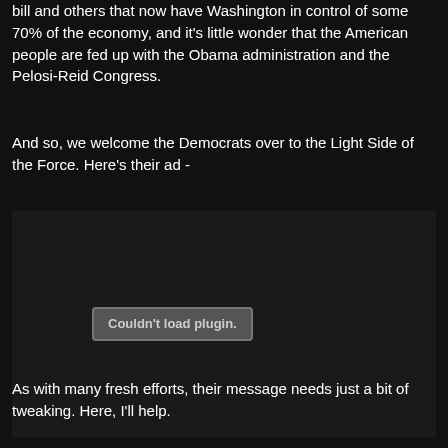bill and others that now have Washington in control of some 70% of the economy, and it's little wonder that the American people are fed up with the Obama administration and the Pelosi-Reid Congress.
And so, we welcome the Democrats over to the Light Side of the Force. Here's their ad -
[Figure (other): Embedded media plugin placeholder showing 'Couldn't load plugin.' error message on dark background]
As with many fresh efforts, their message needs just a bit of tweaking. Here, I'll help.